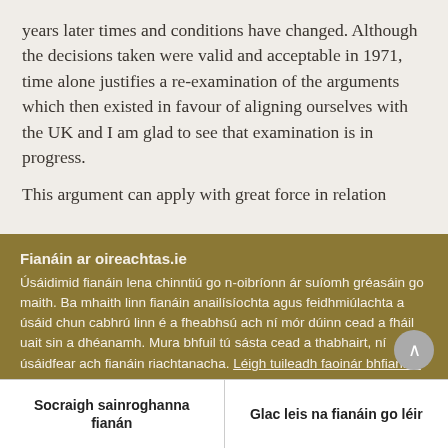years later times and conditions have changed. Although the decisions taken were valid and acceptable in 1971, time alone justifies a re-examination of the arguments which then existed in favour of aligning ourselves with the UK and I am glad to see that examination is in progress.
This argument can apply with great force in relation
Fianáin ar oireachtas.ie
Úsáidimid fianáin lena chinntiú go n-oibríonn ár suíomh gréasáin go maith. Ba mhaith linn fianáin anailísíochta agus feidhmiúlachta a úsáid chun cabhrú linn é a fheabhsú ach ní mór dúinn cead a fháil uait sin a dhéanamh. Mura bhfuil tú sásta cead a thabhairt, ní úsáidfear ach fianáin riachtanacha. Léigh tuileadh faoinár bhfianáin
Socraigh sainroghanna fianán
Glac leis na fianáin go léir